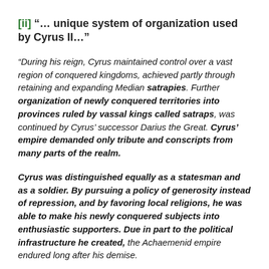[ii] "... unique system of organization used by Cyrus II..."
"During his reign, Cyrus maintained control over a vast region of conquered kingdoms, achieved partly through retaining and expanding Median satrapies. Further organization of newly conquered territories into provinces ruled by vassal kings called satraps, was continued by Cyrus’ successor Darius the Great. Cyrus’ empire demanded only tribute and conscripts from many parts of the realm.
Cyrus was distinguished equally as a statesman and as a soldier. By pursuing a policy of generosity instead of repression, and by favoring local religions, he was able to make his newly conquered subjects into enthusiastic supporters. Due in part to the political infrastructure he created, the Achaemenid empire endured long after his demise.
The rise of Persia under Cyrus’s rule had a profound impact on